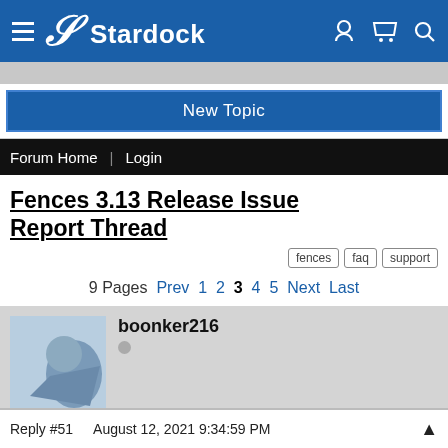Stardock
Fences 3.13 Release Issue Report Thread
fences  faq  support
9 Pages  Prev  1 2 3 4 5  Next  Last
boonker216
Reply #51  August 12, 2021 9:34:59 PM